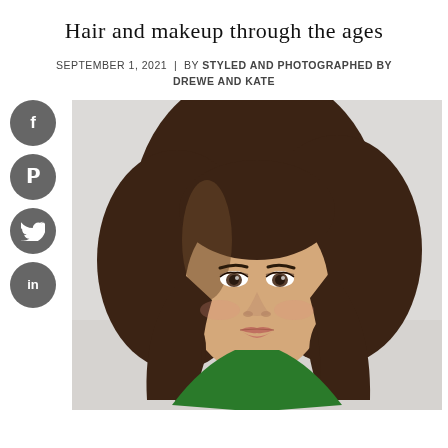Hair and makeup through the ages
SEPTEMBER 1, 2021  |  BY STYLED AND PHOTOGRAPHED BY DREWE AND KATE
[Figure (photo): Portrait photo of a young woman with long brown wavy hair, subtle makeup, looking at camera against a light gray background, wearing a green top.]